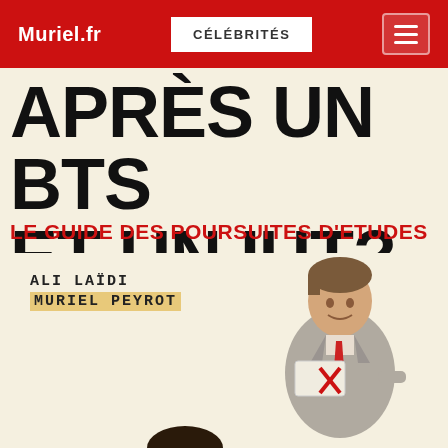Muriel.fr
CÉLÉBRITÉS
[Figure (illustration): Book cover for 'Après un BTS et un IUT? Le guide des poursuites d'etudes' by Ali Laïdi and Muriel Peyrot. Shows two young men — one seated looking up, one standing in a grey suit holding papers with a red ribbon — against a cream background.]
APRÈS UN BTS ET UN IUT?
LE GUIDE DES POURSUITES D'ETUDES
ALI LAÏDI
MURIEL PEYROT